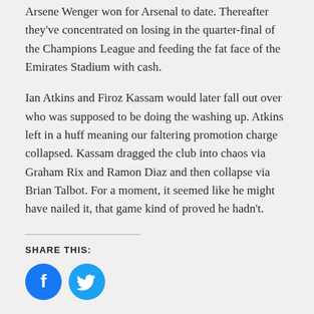Arsene Wenger won for Arsenal to date. Thereafter they've concentrated on losing in the quarter-final of the Champions League and feeding the fat face of the Emirates Stadium with cash.
Ian Atkins and Firoz Kassam would later fall out over who was supposed to be doing the washing up. Atkins left in a huff meaning our faltering promotion charge collapsed. Kassam dragged the club into chaos via Graham Rix and Ramon Diaz and then collapse via Brian Talbot. For a moment, it seemed like he might have nailed it, that game kind of proved he hadn't.
SHARE THIS:
[Figure (illustration): Two social media share buttons: Facebook (blue circle with 'f' icon) and Twitter (blue circle with bird icon)]